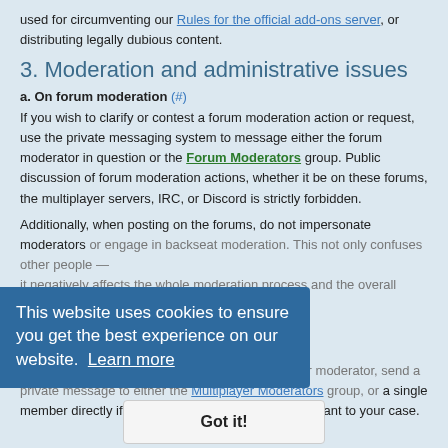used for circumventing our Rules for the official add-ons server, or distributing legally dubious content.
3. Moderation and administrative issues
a. On forum moderation (#)
If you wish to clarify or contest a forum moderation action or request, use the private messaging system to message either the forum moderator in question or the Forum Moderators group. Public discussion of forum moderation actions, whether it be on these forums, the multiplayer servers, IRC, or Discord is strictly forbidden.
Additionally, when posting on the forums, do not impersonate moderators or engage in backseat moderation. This not only confuses other people — it negatively affects the whole moderation process and the overall health of the community.
b. On multiplayer server moderation (#)
If you have a complaint or request for a multiplayer moderator, send a private message to either the Multiplayer Moderators group, or a single member directly if you know of any that may be relevant to your case.
This website uses cookies to ensure you get the best experience on our website. Learn more
Got it!